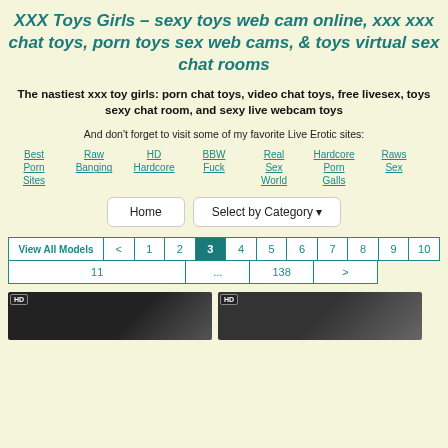XXX Toys Girls – sexy toys web cam online, xxx xxx chat toys, porn toys sex web cams, & toys virtual sex chat rooms
The nastiest xxx toy girls: porn chat toys, video chat toys, free livesex, toys sexy chat room, and sexy live webcam toys
And don't forget to visit some of my favorite Live Erotic sites:
Best Porn Sites
Raw Banging
HD Hardcore
BBW Fuck
Real Sex World
Hardcore Porn Galls
Raws Sex
Home | Select by Category
| View All Models | < | 1 | 2 | 3 | 4 | 5 | 6 | 7 | 8 | 9 | 10 |
| --- | --- | --- | --- | --- | --- | --- | --- | --- | --- | --- | --- |
| 11 | ... | 138 | > |
[Figure (photo): Two thumbnail images of video content with HD badges]